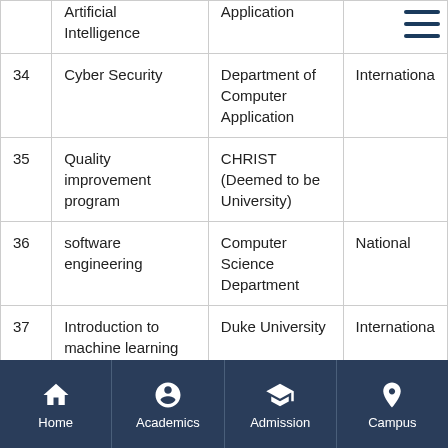| # | Course/Subject | Institution | Level |
| --- | --- | --- | --- |
|  | Artificial Intelligence | Application |  |
| 34 | Cyber Security | Department of Computer Application | Internationa... |
| 35 | Quality improvement program | CHRIST (Deemed to be University) |  |
| 36 | software engineering | Computer Science Department | National |
| 37 | Introduction to machine learning | Duke University | Internationa... |
| 38 | Enterprise System | University of Minnesota | Internationa... |
| 39 | Basics of research, writing research papers,Academic research report writing ... | Research Cell,Sankara college of arts and science | Internationa... |
[Figure (other): Mobile app bottom navigation bar with Home, Academics, Admission, Campus icons]